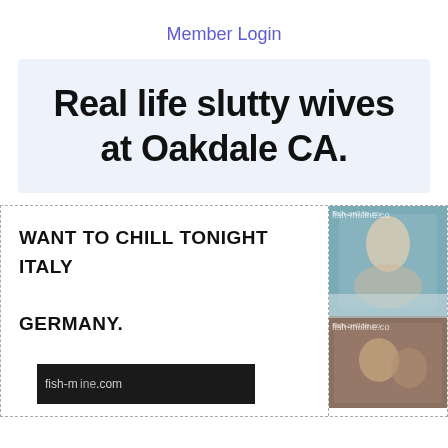Member Login
Real life slutty wives at Oakdale CA.
WANT TO CHILL TONIGHT ITALY

GERMANY.
[Figure (photo): Photo of a person, watermarked with fish-online.com]
[Figure (photo): Second photo, watermarked with fish-online.com]
[Figure (photo): Bottom image strip with fish-online.com watermark/label]